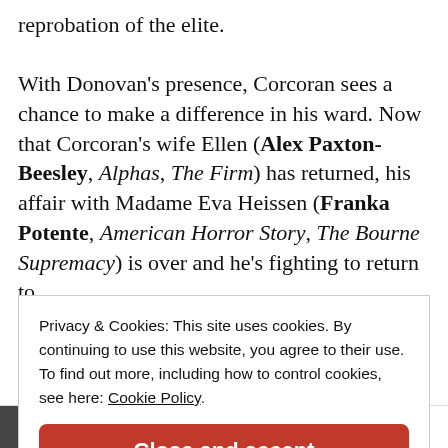reprobation of the elite.

With Donovan’s presence, Corcoran sees a chance to make a difference in his ward. Now that Corcoran’s wife Ellen (Alex Paxton-Beesley, Alphas, The Firm) has returned, his affair with Madame Eva Heissen (Franka Potente, American Horror Story, The Bourne Supremacy) is over and he’s fighting to return to
Privacy & Cookies: This site uses cookies. By continuing to use this website, you agree to their use. To find out more, including how to control cookies, see here: Cookie Policy
Close and accept
Uptown